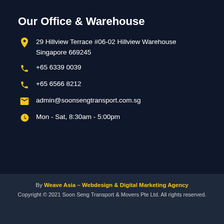Our Office & Warehouse
29 Hillview Terrace #06-02 Hillview Warehouse Singapore 669245
+65 6339 0039
+65 6566 8212
admin@soonsengtransport.com.sg
Mon - Sat, 8:30am - 5:00pm
By Weave Asia – Webdesign & Digital Marketing Agency
Copyright © 2021 Soon Seng Transport & Movers Pte Ltd. All rights reserved.